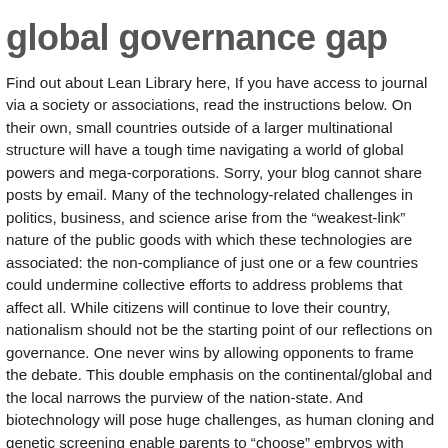global governance gap
Find out about Lean Library here, If you have access to journal via a society or associations, read the instructions below. On their own, small countries outside of a larger multinational structure will have a tough time navigating a world of global powers and mega-corporations. Sorry, your blog cannot share posts by email. Many of the technology-related challenges in politics, business, and science arise from the “weakest-link” nature of the public goods with which these technologies are associated: the non-compliance of just one or a few countries could undermine collective efforts to address problems that affect all. While citizens will continue to love their country, nationalism should not be the starting point of our reflections on governance. One never wins by allowing opponents to frame the debate. This double emphasis on the continental/global and the local narrows the purview of the nation-state. And biotechnology will pose huge challenges, as human cloning and genetic screening enable parents to “choose” embryos with desired characteristics. Despite the recent rise of nationalist and Eurosceptic populism, this month’s